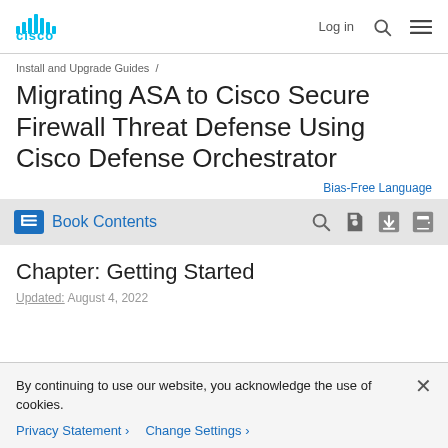Cisco logo | Log in | Search | Menu
Install and Upgrade Guides /
Migrating ASA to Cisco Secure Firewall Threat Defense Using Cisco Defense Orchestrator
Bias-Free Language
Book Contents
Chapter: Getting Started
Updated: August 4, 2022
By continuing to use our website, you acknowledge the use of cookies.
Privacy Statement > Change Settings >